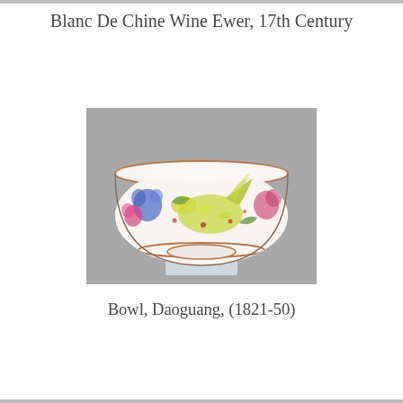Blanc De Chine Wine Ewer, 17th Century
[Figure (photo): A white porcelain bowl decorated with colorful famille rose enamel painting featuring phoenix and floral motifs, displayed on a clear acrylic stand against a grey background. Daoguang period Chinese porcelain.]
Bowl, Daoguang, (1821-50)